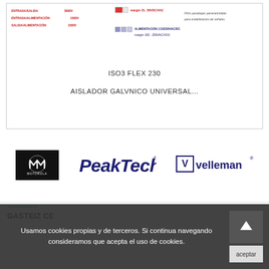[Figure (schematic): Technical schematic diagram of ISO3 FLEX 230 galvanic isolator showing entrada/salida 3000V, entrada/alimentación 1500V, salida/alimentación 1500V, power supply 115/230VAC/DC margin 100..250VAC/VDC, margin 15..50VDC/VAC, and parametrizable passband filter for signal stabilization. Red and blue labels with small component symbols.]
ISO3 FLEX 230
AISLADOR GALVNICO UNIVERSAL...
[Figure (logo): Motorola logo - black square with white Motorola M symbol and MOTOROLA text]
[Figure (logo): PeakTech logo in dark blue italic bold font with registered trademark symbol]
[Figure (logo): Velleman logo with stylized V icon and velleman text in dark blue with registered trademark]
GASTEIZ CE
Usamos cookies propias y de terceros. Si continua navegando consideramos que acepta el uso de cookies.
aceptar